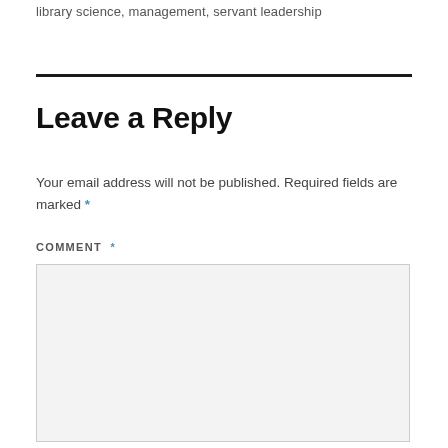library science, management, servant leadership
Leave a Reply
Your email address will not be published. Required fields are marked *
COMMENT *
[Figure (other): Empty comment text area input box with light gray background]